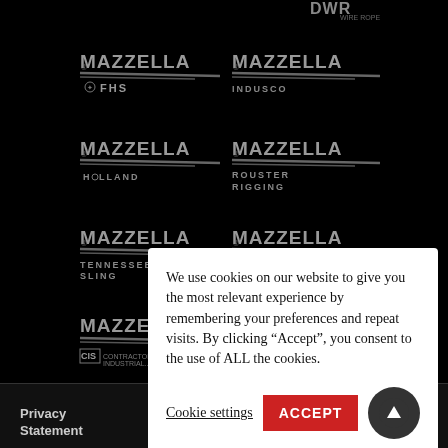[Figure (logo): Mazzella FHS logo - white/gray on black background]
[Figure (logo): Mazzella Indusco logo - white/gray on black background]
[Figure (logo): Mazzella Holland logo - white/gray on black background]
[Figure (logo): Mazzella Rouster Rigging logo - white/gray on black background]
[Figure (logo): Mazzella Tennessee Sling logo - white/gray on black background]
[Figure (logo): Mazzella Alabama Sling logo - white/gray on black background]
[Figure (logo): Mazzella CIS (Contractor Industrial Supply) logo]
[Figure (logo): Mazzella (partial, right side)]
[Figure (logo): New Tech Machinery / NTM logo - A Mazzella Company]
We use cookies on our website to give you the most relevant experience by remembering your preferences and repeat visits. By clicking “Accept”, you consent to the use of ALL the cookies.
Cookie settings
ACCEPT
Privacy Statement
of